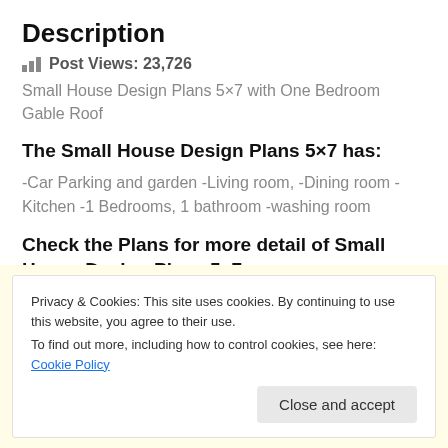Description
Post Views: 23,726
Small House Design Plans 5×7 with One Bedroom Gable Roof
The Small House Design Plans 5×7 has:
-Car Parking and garden -Living room, -Dining room -Kitchen -1 Bedrooms, 1 bathroom -washing room
Check the Plans for more detail of Small House Design Plans 5×7:
Privacy & Cookies: This site uses cookies. By continuing to use this website, you agree to their use. To find out more, including how to control cookies, see here: Cookie Policy